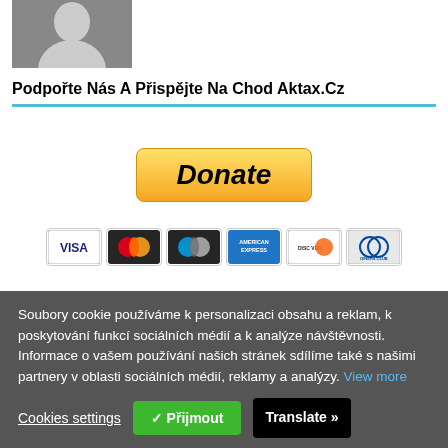[Figure (photo): Black and white portrait photo of a person]
Podpořte Nás A Přispějte Na Chod Aktax.Cz
[Figure (other): PayPal Donate button with payment card logos (VISA, Mastercard, Maestro, American Express, Discover, Diners Club)]
Soubory cookie používáme k personalizaci obsahu a reklam, k poskytování funkcí sociálních médií a k analýze návštěvnosti. Informace o vašem používání našich stránek sdílíme také s našimi partnery v oblasti sociálních médií, reklamy a analýzy. View more
Cookies settings  ✓ Přijmout  Translate »